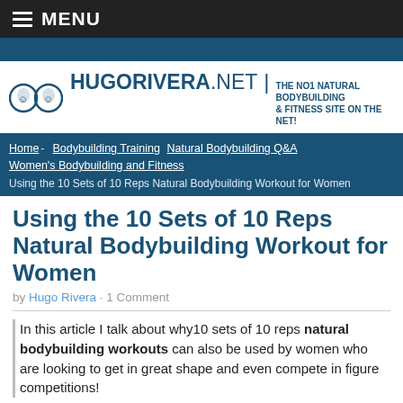MENU
[Figure (logo): HugoRivera.net logo with two circular horse/face icons and text: HUGORIVERA.NET | THE NO1 NATURAL BODYBUILDING & FITNESS SITE ON THE NET!]
Home - Bodybuilding Training  Natural Bodybuilding Q&A  Women's Bodybuilding and Fitness  Using the 10 Sets of 10 Reps Natural Bodybuilding Workout for Women
Using the 10 Sets of 10 Reps Natural Bodybuilding Workout for Women
by Hugo Rivera · 1 Comment
In this article I talk about why10 sets of 10 reps natural bodybuilding workouts can also be used by women who are looking to get in great shape and even compete in figure competitions!
This week I answered the following natural bodybuilding question from a woman that is looking to use the 10 sets of 10